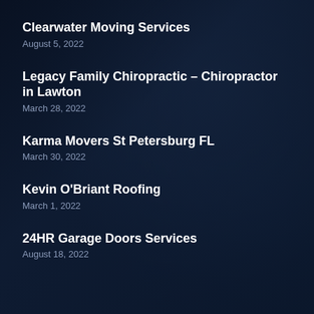Clearwater Moving Services
August 5, 2022
Legacy Family Chiropractic – Chiropractor in Lawton
March 28, 2022
Karma Movers St Petersburg FL
March 30, 2022
Kevin O'Briant Roofing
March 1, 2022
24HR Garage Doors Services
August 18, 2022